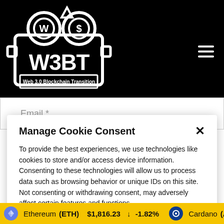[Figure (logo): W3BT Web 3.0 Blockchain Transition logo — white camera icon with two circular coin lenses on black background, text W3BT and Web 3.0 Blockchain Transition]
Email *
Manage Cookie Consent
To provide the best experiences, we use technologies like cookies to store and/or access device information. Consenting to these technologies will allow us to process data such as browsing behavior or unique IDs on this site. Not consenting or withdrawing consent, may adversely affect certain features and functions.
Accept
Ethereum (ETH) $1,816.23 ↓ -1.82%  Cardano (AD